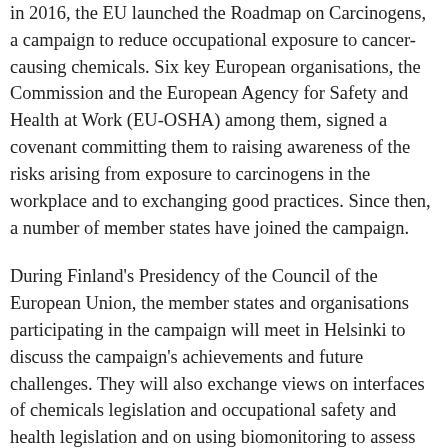in 2016, the EU launched the Roadmap on Carcinogens, a campaign to reduce occupational exposure to cancer-causing chemicals. Six key European organisations, the Commission and the European Agency for Safety and Health at Work (EU-OSHA) among them, signed a covenant committing them to raising awareness of the risks arising from exposure to carcinogens in the workplace and to exchanging good practices. Since then, a number of member states have joined the campaign.
During Finland's Presidency of the Council of the European Union, the member states and organisations participating in the campaign will meet in Helsinki to discuss the campaign's achievements and future challenges. They will also exchange views on interfaces of chemicals legislation and occupational safety and health legislation and on using biomonitoring to assess